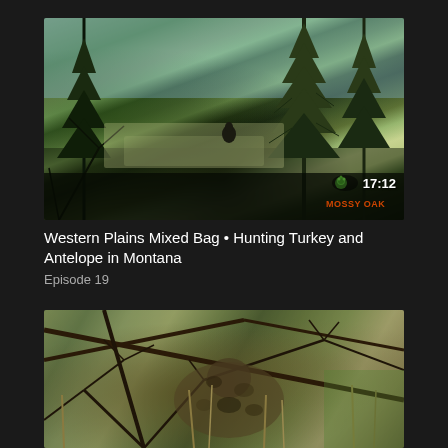[Figure (screenshot): Video thumbnail showing pine trees and grassland hunting scene with Mossy Oak logo and duration badge showing 17:12]
Western Plains Mixed Bag • Hunting Turkey and Antelope in Montana
Episode 19
[Figure (screenshot): Second video thumbnail showing a hunter in camouflage gear in brush/branches, outdoor hunting scene]